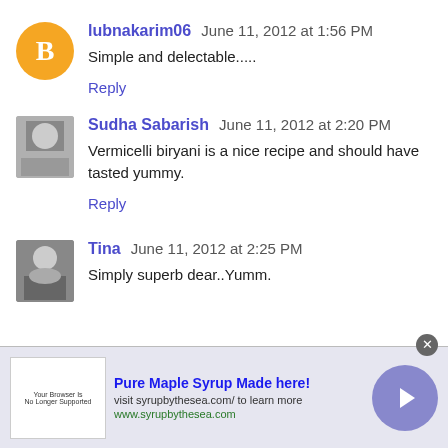lubnakarim06   June 11, 2012 at 1:56 PM
Simple and delectable.....
Reply
Sudha Sabarish   June 11, 2012 at 2:20 PM
Vermicelli biryani is a nice recipe and should have tasted yummy.
Reply
Tina   June 11, 2012 at 2:25 PM
Simply superb dear..Yumm.
[Figure (infographic): Ad banner: Pure Maple Syrup Made here! visit syrupbythesea.com/ to learn more www.syrupbythesea.com, with arrow button and close X button]